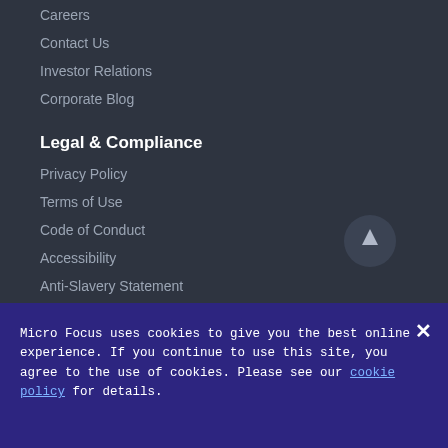Careers
Contact Us
Investor Relations
Corporate Blog
Legal & Compliance
Privacy Policy
Terms of Use
Code of Conduct
Accessibility
Anti-Slavery Statement
Global Tax Strategy
[Figure (other): Scroll to top button - circular dark button with upward arrow]
[Figure (other): Language selector icon partially visible at bottom right]
Micro Focus uses cookies to give you the best online experience. If you continue to use this site, you agree to the use of cookies. Please see our cookie policy for details.